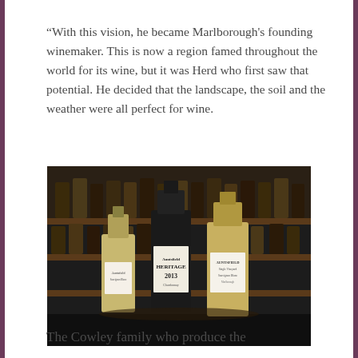“With this vision, he became Marlborough's founding winemaker. This is now a region famed throughout the world for its wine, but it was Herd who first saw that potential. He decided that the landscape, the soil and the weather were all perfect for wine.
[Figure (photo): Three wine bottles displayed on a bar counter with shelves of wine bottles in the background. The center bottle has a label reading 'HERITAGE 2013'.]
The Cowley family who produce the